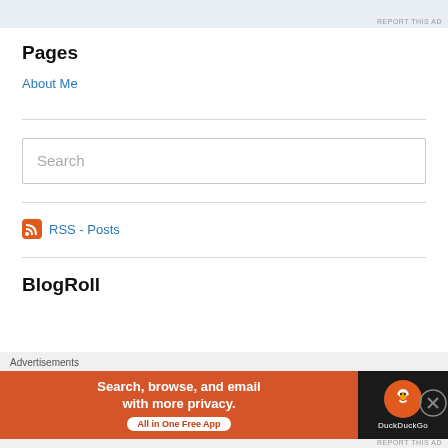[Figure (other): Top advertisement banner placeholder (light blue-grey rectangle)]
Pages
About Me
[Figure (other): Search input box with placeholder text 'Search']
RSS - Posts
BlogRoll
[Figure (other): Bottom advertisement overlay: DuckDuckGo ad — 'Search, browse, and email with more privacy. All in One Free App']